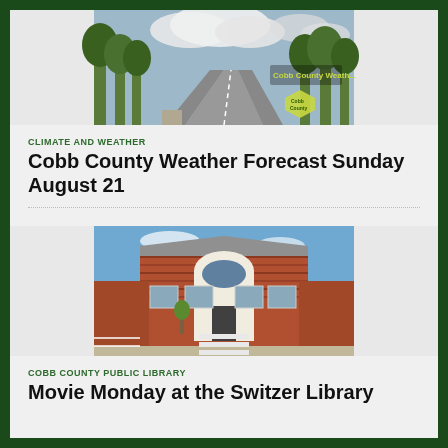[Figure (photo): Aerial or street view of a tree-lined road in Cobb County with clouds in the sky and a Cobb County Weather shield/logo overlay]
CLIMATE AND WEATHER
Cobb County Weather Forecast Sunday August 21
[Figure (photo): Exterior photo of the Switzer Library building, a brick building with a white arched entrance, blue sky in background]
COBB COUNTY PUBLIC LIBRARY
Movie Monday at the Switzer Library